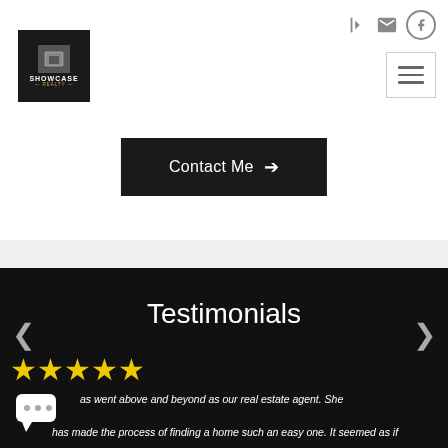[Figure (logo): Showcase Realty logo — black square background with white S icon and gold text]
[Figure (other): Navigation icons: login arrow, envelope, Facebook circle, and hamburger menu button]
Contact Me →
Testimonials
[Figure (other): Five yellow star rating icons and a chat bubble icon]
as went above and beyond as our real estate agent. She has made the process of finding a home such an easy one. It seemed as if